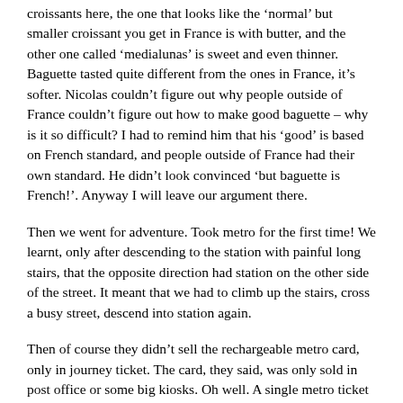croissants here, the one that looks like the 'normal' but smaller croissant you get in France is with butter, and the other one called 'medialunas' is sweet and even thinner. Baguette tasted quite different from the ones in France, it's softer. Nicolas couldn't figure out why people outside of France couldn't figure out how to make good baguette – why is it so difficult? I had to remind him that his 'good' is based on French standard, and people outside of France had their own standard. He didn't look convinced 'but baguette is French!'. Anyway I will leave our argument there.
Then we went for adventure. Took metro for the first time! We learnt, only after descending to the station with painful long stairs, that the opposite direction had station on the other side of the street. It meant that we had to climb up the stairs, cross a busy street, descend into station again.
Then of course they didn't sell the rechargeable metro card, only in journey ticket. The card, they said, was only sold in post office or some big kiosks. Oh well. A single metro ticket coat 3.5ars.